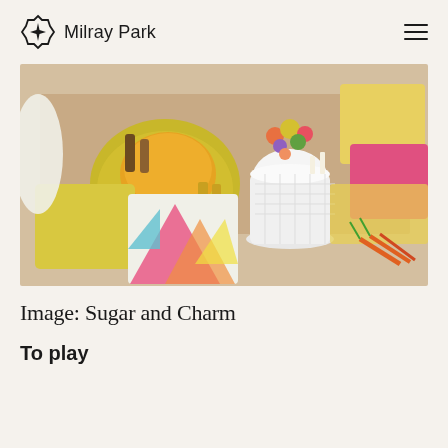Milray Park
[Figure (photo): Overhead/bird's-eye view of a colorful styled picnic or floor gathering setup with decorative pillows (yellow, pink, multi-colored geometric pattern), a white latticed side table with flowers, a yellow round tray with drinks and bottles, and assorted food items on a neutral beige floor/rug.]
Image: Sugar and Charm
To play